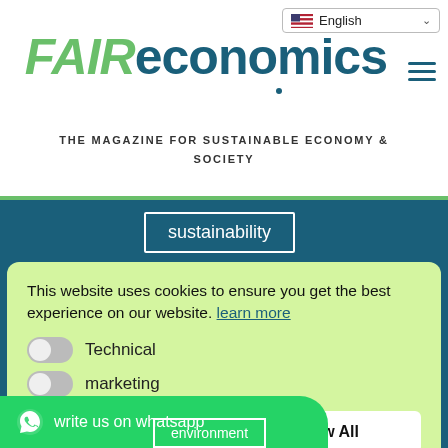English (language selector)
FAIReconomics — THE MAGAZINE FOR SUSTAINABLE ECONOMY & SOCIETY
sustainability
Newsletter
politics
This website uses cookies to ensure you get the best experience on our website. learn more
Technical (toggle off)
marketing (toggle off)
Allow All
write us on whatsapp
environment